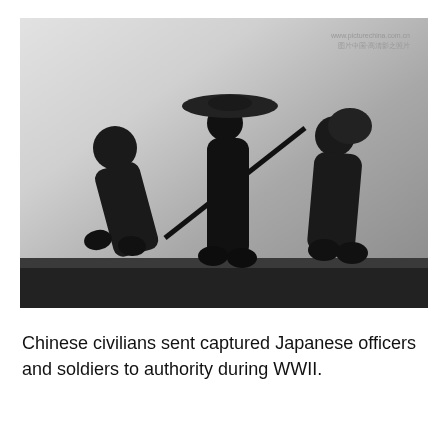[Figure (photo): Black and white historical photograph showing three figures walking, appearing to be Chinese civilians escorting captured Japanese soldiers during WWII. The figures are hunched or bowed, carrying items. A watermark reads 'www.picturechina.com.cn' with Chinese characters below.]
Chinese civilians sent captured Japanese officers and soldiers to authority during WWII.